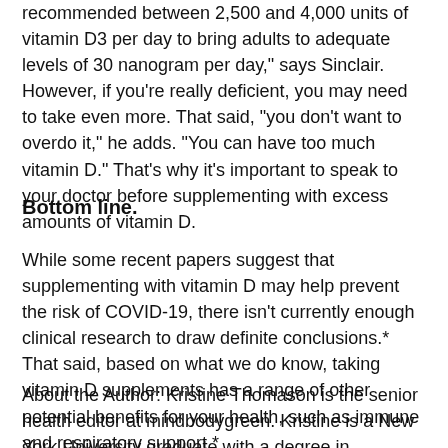recommended between 2,500 and 4,000 units of vitamin D3 per day to bring adults to adequate levels of 30 nanogram per day," says Sinclair. However, if you're really deficient, you may need to take even more. That said, "you don't want to overdo it," he adds. "You can have too much vitamin D." That's why it's important to speak to your doctor before supplementing with excess amounts of vitamin D.
Bottom line.
While some recent papers suggest that supplementing with vitamin D may help prevent the risk of COVID-19, there isn't currently enough clinical research to draw definite conclusions.* That said, based on what we do know, taking vitamin D supplements has a range of other potential benefits for your health, such as immune and respiratory support.*
About the Author: Kristine Thomason is the senior health editor at mindbodygreen. Kristine is a New York University graduate with a degree in journalism and psychology, and also a NASM-certified personal trainer. She has spent her editorial career focused on health and well-being, and